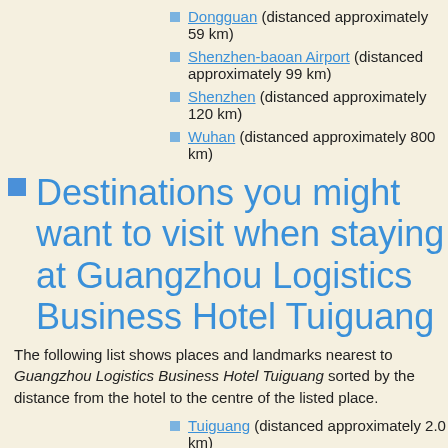Dongguan (distanced approximately 59 km)
Shenzhen-baoan Airport (distanced approximately 99 km)
Shenzhen (distanced approximately 120 km)
Wuhan (distanced approximately 800 km)
Destinations you might want to visit when staying at Guangzhou Logistics Business Hotel Tuiguang
The following list shows places and landmarks nearest to Guangzhou Logistics Business Hotel Tuiguang sorted by the distance from the hotel to the centre of the listed place.
Tuiguang (distanced approximately 2.0 km)
Renhe (distanced approximately 4.1 km)
Nanyangzhuang (distanced approximately 4.2